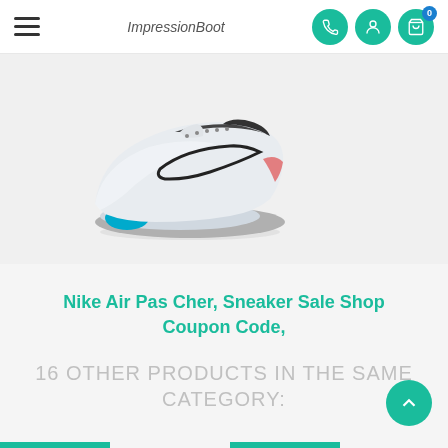ImpressionBoot — navigation header with hamburger menu, logo, phone, account, and cart icons
[Figure (photo): Nike Air Max sneaker shoe, white with blue sole and black swoosh, photographed on white/light grey background]
Nike Air Pas Cher, Sneaker Sale Shop Coupon Code,
16 OTHER PRODUCTS IN THE SAME CATEGORY: